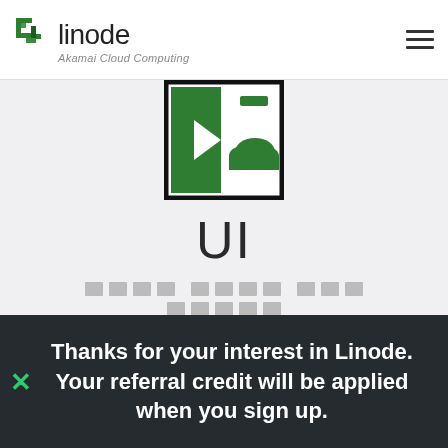linode — Akamai Cloud Computing
[Figure (logo): Linode UI application icon: a square icon with black border, green left panel with an arrow, white right panel with a green cloud and green minus button]
UI
[redacted text — appears as grey blocks]
Thanks for your interest in Linode. Your referral credit will be applied when you sign up.